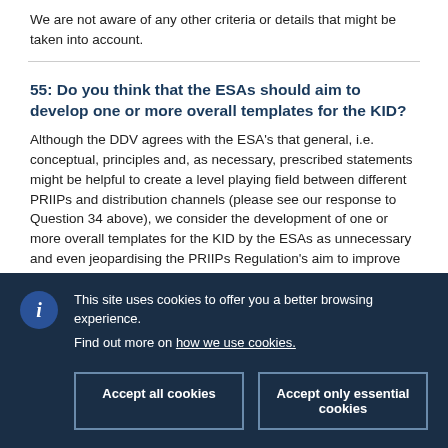We are not aware of any other criteria or details that might be taken into account.
55: Do you think that the ESAs should aim to develop one or more overall templates for the KID?
Although the DDV agrees with the ESA's that general, i.e. conceptual, principles and, as necessary, prescribed statements might be helpful to create a level playing field between different PRIIPs and distribution channels (please see our response to Question 34 above), we consider the development of one or more overall templates for the KID by the ESAs as unnecessary and even jeopardising the PRIIPs Regulation's aim to improve the quality and comparability of information provided to retail investors.
This site uses cookies to offer you a better browsing experience. Find out more on how we use cookies.
Accept all cookies
Accept only essential cookies